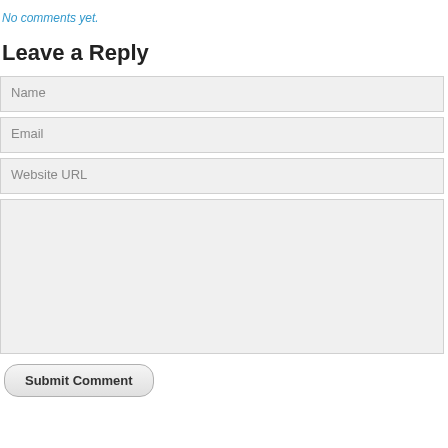No comments yet.
Leave a Reply
Name
Email
Website URL
Submit Comment